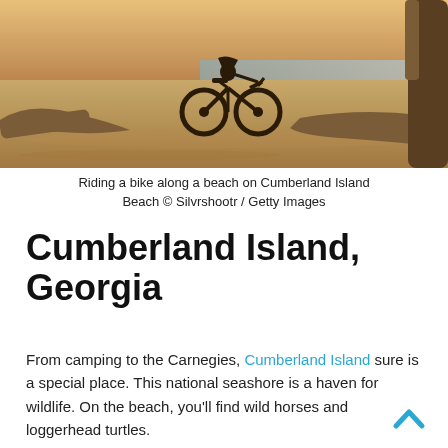[Figure (photo): Person riding a fat-tire bicycle along a sandy beach on Cumberland Island, with driftwood and water in the background, warm sunset light.]
Riding a bike along a beach on Cumberland Island Beach © Silvrshootr / Getty Images
Cumberland Island, Georgia
From camping to the Carnegies, Cumberland Island sure is a special place. This national seashore is a haven for wildlife. On the beach, you'll find wild horses and loggerhead turtles.
Hike through the island's interior, which is shaded by